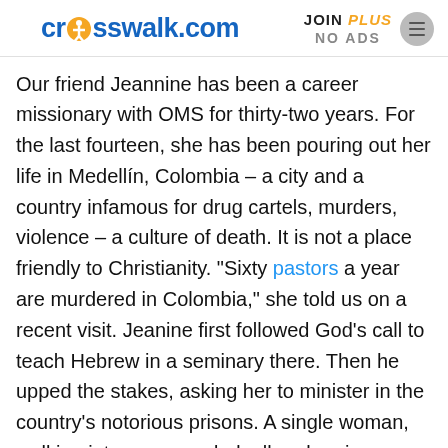crosswalk.com | JOIN PLUS NO ADS
Our friend Jeannine has been a career missionary with OMS for thirty-two years.  For the last fourteen, she has been pouring out her life in Medellín, Colombia – a city and a country infamous for drug cartels, murders, violence – a culture of death.  It is not a place friendly to Christianity.  "Sixty pastors a year are murdered in Colombia," she told us on a recent visit.  Jeanine first followed God's call to teach Hebrew in a seminary there.  Then he upped the stakes, asking her to minister in the country's notorious prisons.  A single woman, walking into overcrowded, all-male prisons filled with hardened criminals – an incarnation of hell on earth – to bring the love of Jesus.
[Figure (other): Advertisement banner for The Heritage Foundation with dark blue background, showing a book and Heritage Foundation logo]